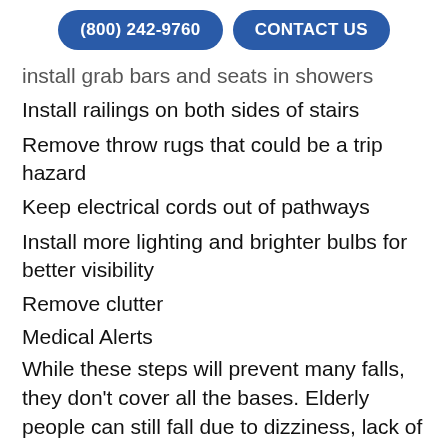(800) 242-9760   CONTACT US
install grab bars and seats in showers
Install railings on both sides of stairs
Remove throw rugs that could be a trip hazard
Keep electrical cords out of pathways
Install more lighting and brighter bulbs for better visibility
Remove clutter
Medical Alerts
While these steps will prevent many falls, they don't cover all the bases. Elderly people can still fall due to dizziness, lack of strength or coordination, or other reasons. Once an elderly person has fallen, there is a good chance they will need help to get up even if they are not